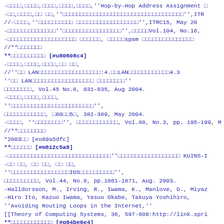-□□□□,□□□□,□□□□,□□□□,□□□□,''Hop-by-Hop Address Assignment □
-□□,□□□□,□□ □□,''□□□□□□□□□□□□□□□□□□□□□□□□□□□□□□□□□□□'',ITRC
//-□□□□,''□□□□□□□□□□ □□□□□□□□□□□□□□□□□□'',ITRC15, May 20
-□□□□□□□□□□□□□□''□□□□□□□□□□□□□□□□□'',□□□□□Vol.104, No.16,
-□□□□□□□□□□□□□□□□□□□□ □□□□□□, □□□□□spam □□□□□□□□□□□□□□□
//**□□□□□□□
**□□□□□□□□□□ [#u80608c4]
-□□□□,□□□□,□□□□,□□ □□,
//''□□ LAN□□□□□□□□□□□□□□□□□□:4.□□LAN□□□□□□□□□□□□4.3
''□□ LAN□□□□□□□□□□□□□□□□□□ □□□□□□□□''
□□□□□□□□, Vol.45 No.8, 831-835, Aug 2004.
-□□□□,□□□□,□□□□,
''□□□□□□□□□□□□□□□□□□□□□□□□'',
□□□□□□□□□□□□, □80□□5□, 382-389, May 2004.
-□□□□, ''□□□□□□□□'', □□□□□□□□□□□□, Vol.88, No.3, pp. 195-199, M
//**□□□□□□□□
*2003□□ [#o89a5dfc]
**□□□□□□ [#m812c5a8]
-□□□□□□□□□□□□□□□□□□□□□□□□□□□□□□''□□□□□□□□□□□□□□□□□□ KUINS-I
-□□ □□, □□ □□, □□ □□,
''□□□□□□□□□□□□□□□□□IDS□□□□□□□□□□'',
□□□□□□□□□□, Vol.44, No.8, pp.1861-1871, Aug. 2003.
-Halldorsson, M., Irving, R., Iwama, K., Manlove, D., Miyaz
-Hiro Ito, Kazuo Iwama, Yasuo Okabe, Takuya Yoshihiro,
''Avoiding Routing Loops in the Internet,''
[[Theory of Computing Systems, 36, 597-609:http://link.spri
**□□□□□□□□□□□□ [#g64be6e4]
-Hiro Ito, Kazuo Iwama, Yasuo Okabe, Takuya Yoshihiro,
''Polynomial-Time Computable Backup Tables for Shortest-Pat
The 10th International Colloquium on Structural Informatio